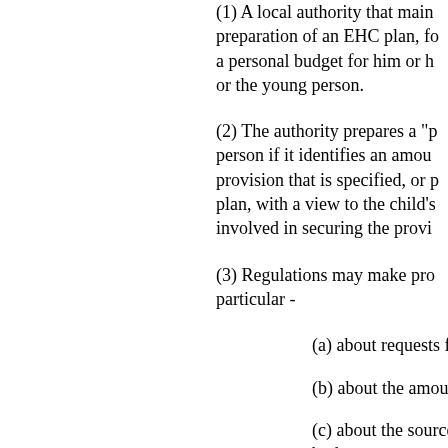(1) A local authority that maintains or is preparing an EHC plan, for the preparation of an EHC plan, for a personal budget for him or her, or the young person.
(2) The authority prepares a "personal budget" for a child or young person if it identifies an amount of money, with respect to provision that is specified, or proposed to be specified, in the plan, with a view to the child's parent or the young person being involved in securing the provision.
(3) Regulations may make provision about personal budgets, in particular -
(a) about requests for pe
(b) about the amount of
(c) about the sources of budget;
(d) for payments ("direct payments") to be made to a person as part of a personal budget; payments may be made to a child, a young person, or a person in prescribed circumstances to which the budget relates.